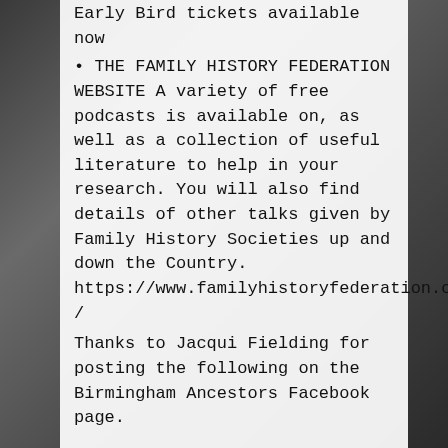Early Bird tickets available now
• THE FAMILY HISTORY FEDERATION WEBSITE A variety of free podcasts is available on, as well as a collection of useful literature to help in your research. You will also find details of other talks given by Family History Societies up and down the Country. https://www.familyhistoryfederation.com/
Thanks to Jacqui Fielding for posting the following on the Birmingham Ancestors Facebook page.
A talk on Traditions of Death and Burial. Which can now be viewed on You Tube.